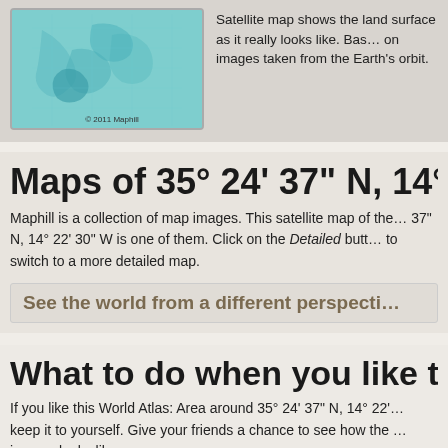[Figure (map): Satellite map thumbnail showing land surface, teal/blue tones, with '© 2011 Maphill' watermark]
Satellite map shows the land surface as it really looks like. Based on images taken from the Earth's orbit.
Maps of 35° 24' 37" N, 14° 22' 3…
Maphill is a collection of map images. This satellite map of the… 37" N, 14° 22' 30" W is one of them. Click on the Detailed butt… to switch to a more detailed map.
See the world from a different perspecti…
What to do when you like this m…
If you like this World Atlas: Area around 35° 24' 37" N, 14° 22'… keep it to yourself. Give your friends a chance to see how the … images looks like.